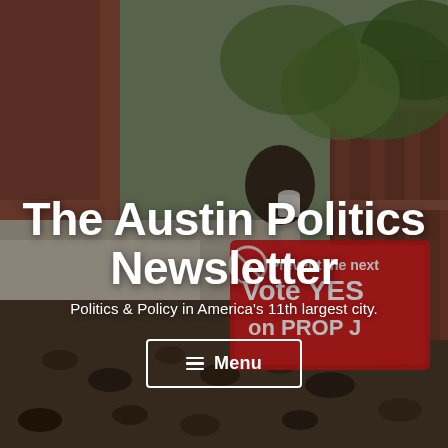[Figure (photo): Outdoor background photo showing a person holding a coffee cup and a red campaign sign reading 'Prevent the next' and 'Vote YES on PROP J', surrounded by trees, rocks, and a wooden fence. Photo is used as a full-bleed hero background.]
The Austin Politics Newsletter
Politics & Policy in America's 11th largest city.
≡ Menu